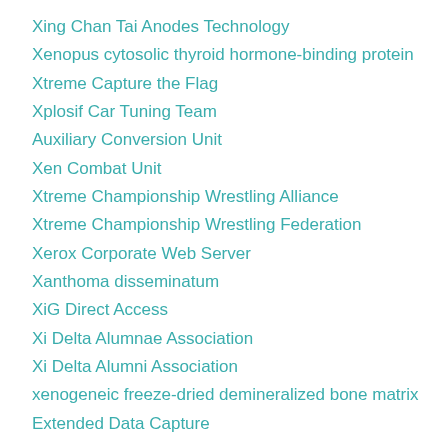Xing Chan Tai Anodes Technology
Xenopus cytosolic thyroid hormone-binding protein
Xtreme Capture the Flag
Xplosif Car Tuning Team
Auxiliary Conversion Unit
Xen Combat Unit
Xtreme Championship Wrestling Alliance
Xtreme Championship Wrestling Federation
Xerox Corporate Web Server
Xanthoma disseminatum
XiG Direct Access
Xi Delta Alumnae Association
Xi Delta Alumni Association
xenogeneic freeze-dried demineralized bone matrix
Extended Data Capture